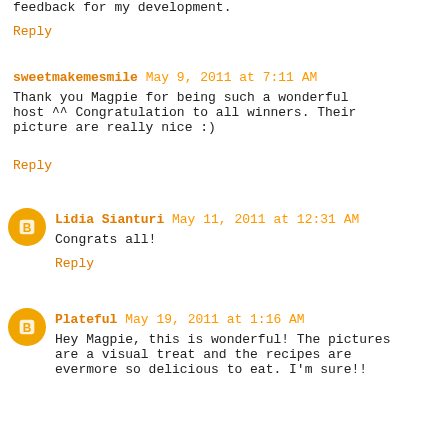feedback for my development.
Reply
sweetmakemesmile May 9, 2011 at 7:11 AM
Thank you Magpie for being such a wonderful host ^^ Congratulation to all winners. Their picture are really nice :)
Reply
Lidia Sianturi May 11, 2011 at 12:31 AM
Congrats all!
Reply
Plateful May 19, 2011 at 1:16 AM
Hey Magpie, this is wonderful! The pictures are a visual treat and the recipes are evermore so delicious to eat. I'm sure!!